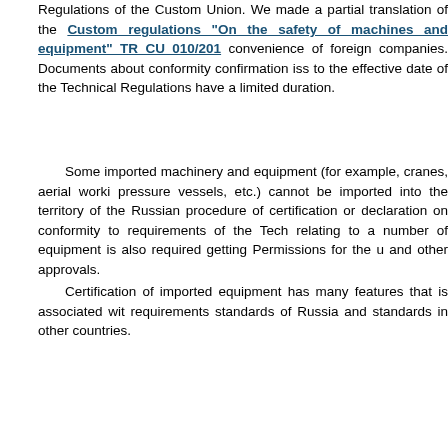Regulations of the Custom Union. We made a partial translation of the Custom regulations "On the safety of machines and equipment" TR CU 010/201 convenience of foreign companies. Documents about conformity confirmation iss to the effective date of the Technical Regulations have a limited duration.
Some imported machinery and equipment (for example, cranes, aerial worki pressure vessels, etc.) cannot be imported into the territory of the Russian procedure of certification or declaration on conformity to requirements of the Tech relating to a number of equipment is also required getting Permissions for the u and other approvals.
Certification of imported equipment has many features that is associated wit requirements standards of Russia and standards in other countries.
For example most often imported machinery and equipment is designed temperatures from minus 20-25 °C to 40 °C, while the minus 25 °C is the orc Russia in the winter. Therefore, the choice of materials when designing metal st produced in Russia is made considering the lower limit values for ambient tempe and nonworking states (for cranes - from minus 40 °C).
Most often import machines are not equipped with safety devices tha requirements of industrial safety acting in the Russian Federation.
Machines and (or) used equipment, some spare parts are not subject to assessment requirements of Technical regulations.
Even if the products are not subject to the technical regulations, it should